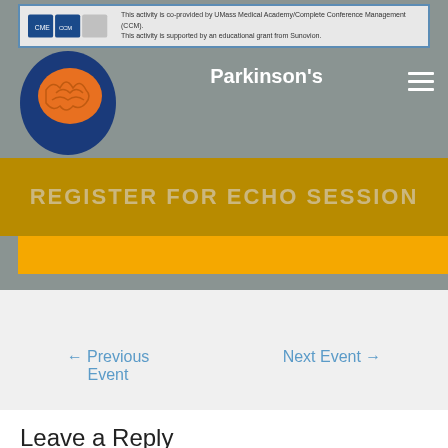[Figure (screenshot): Website screenshot showing a Parkinson's ECHO session page with brain logo, navigation bar, 'REGISTER FOR ECHO SESSION' button in dark gold, and an orange button bar below.]
← Previous Event
Next Event →
Leave a Reply
Your email address will not be published. Required fields are marked *